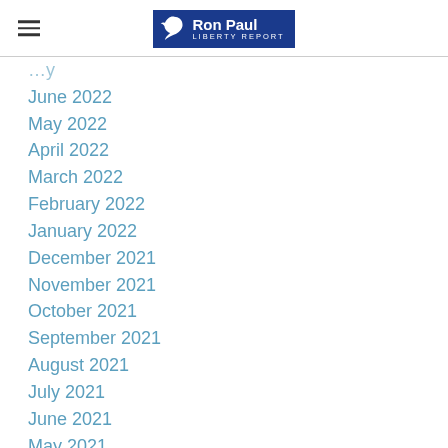Ron Paul Liberty Report
June 2022
May 2022
April 2022
March 2022
February 2022
January 2022
December 2021
November 2021
October 2021
September 2021
August 2021
July 2021
June 2021
May 2021
April 2021
March 2021
February 2021